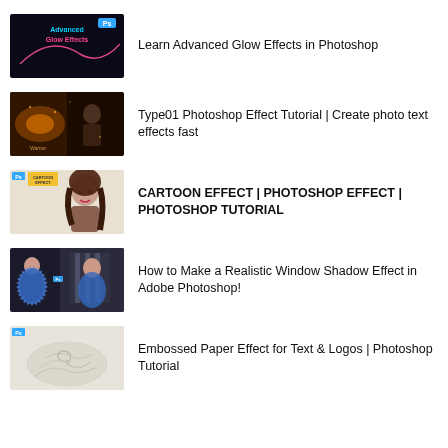Learn Advanced Glow Effects in Photoshop
Type01 Photoshop Effect Tutorial | Create photo text effects fast
CARTOON EFFECT | PHOTOSHOP EFFECT | PHOTOSHOP TUTORIAL
How to Make a Realistic Window Shadow Effect in Adobe Photoshop!
Embossed Paper Effect for Text & Logos | Photoshop Tutorial